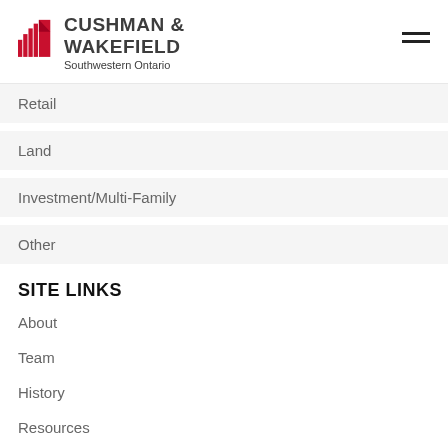[Figure (logo): Cushman & Wakefield Southwestern Ontario logo with red building/bars icon]
Retail
Land
Investment/Multi-Family
Other
SITE LINKS
About
Team
History
Resources